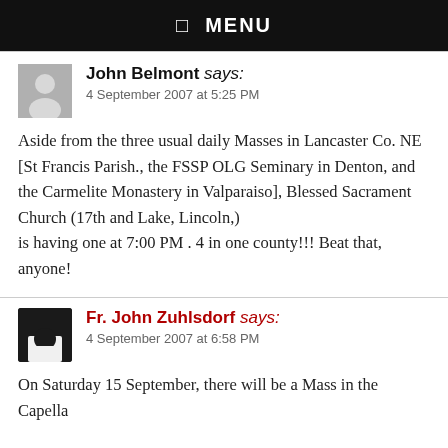☰  MENU
John Belmont says:
4 September 2007 at 5:25 PM
Aside from the three usual daily Masses in Lancaster Co. NE [St Francis Parish., the FSSP OLG Seminary in Denton, and the Carmelite Monastery in Valparaiso], Blessed Sacrament Church (17th and Lake, Lincoln,)
is having one at 7:00 PM . 4 in one county!!! Beat that, anyone!
Fr. John Zuhlsdorf says:
4 September 2007 at 6:58 PM
On Saturday 15 September, there will be a Mass in the Capella